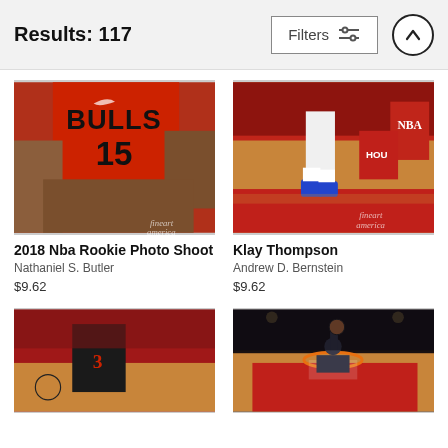Results: 117
[Figure (photo): 2018 NBA Rookie Photo Shoot - player in Chicago Bulls #15 jersey sitting]
2018 Nba Rookie Photo Shoot
Nathaniel S. Butler
$9.62
[Figure (photo): Klay Thompson - NBA player on basketball court near sideline, NBA logo visible]
Klay Thompson
Andrew D. Bernstein
$9.62
[Figure (photo): NBA player in red and black Rockets jersey dribbling basketball]
[Figure (photo): NBA player dunking or jumping near the basket with arena crowd in background]